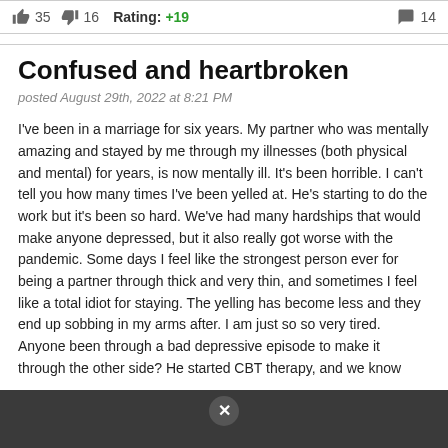👍 35  👎 16  Rating: +19  💬 14
Confused and heartbroken
posted August 29th, 2022 at 8:21 PM
I've been in a marriage for six years. My partner who was mentally amazing and stayed by me through my illnesses (both physical and mental) for years, is now mentally ill. It's been horrible. I can't tell you how many times I've been yelled at. He's starting to do the work but it's been so hard. We've had many hardships that would make anyone depressed, but it also really got worse with the pandemic. Some days I feel like the strongest person ever for being a partner through thick and very thin, and sometimes I feel like a total idiot for staying. The yelling has become less and they end up sobbing in my arms after. I am just so so very tired. Anyone been through a bad depressive episode to make it through the other side? He started CBT therapy, and we know